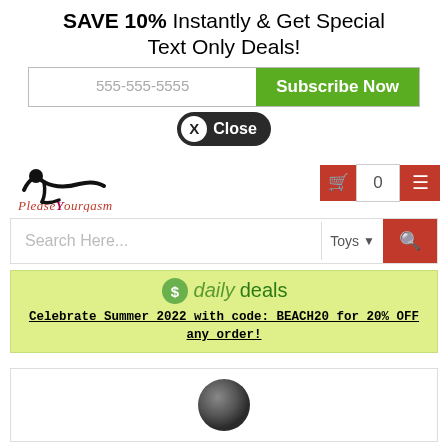SAVE 10% Instantly & Get Special Text Only Deals!
555-555-5555
Subscribe Now
X Close
[Figure (logo): PleaseYourgasm website logo with a silhouette of a reclining figure]
0
Search Here...
Toys
[Figure (infographic): Daily deals logo with dollar sign icon, the word 'daily' in italic green and 'deals' in dark green]
Celebrate Summer 2022 with code: BEACH20 for 20% OFF any order!
[Figure (photo): A dark grey/black spherical ball product image]